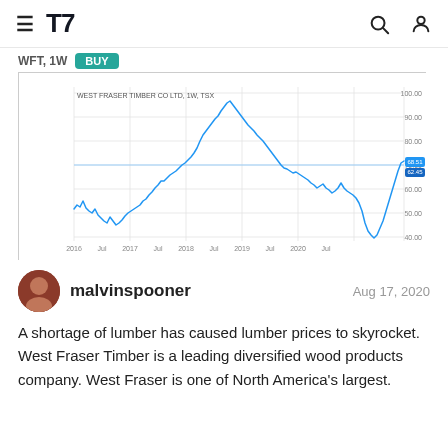TradingView logo, search and account icons
[Figure (continuous-plot): Weekly stock price chart for West Fraser Timber Co Ltd (WFT, 1W, TSX) from 2016 to mid-2020. Price starts around 40, rises to ~100 peak in 2018, drops back, falls sharply in early 2020 to ~20, then recovers sharply to ~68.]
malvinspooner
Aug 17, 2020
A shortage of lumber has caused lumber prices to skyrocket. West Fraser Timber is a leading diversified wood products company. West Fraser is one of North America's largest.